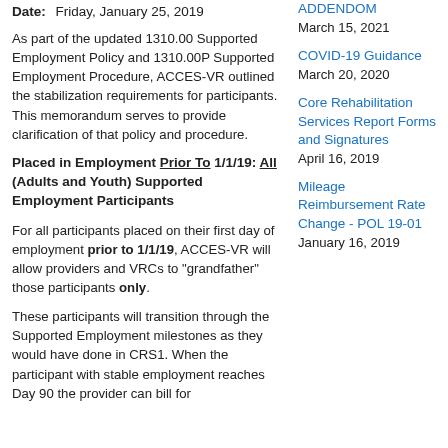Date: Friday, January 25, 2019
As part of the updated 1310.00 Supported Employment Policy and 1310.00P Supported Employment Procedure, ACCES-VR outlined the stabilization requirements for participants. This memorandum serves to provide clarification of that policy and procedure.
Placed in Employment Prior To 1/1/19: All (Adults and Youth) Supported Employment Participants
For all participants placed on their first day of employment prior to 1/1/19, ACCES-VR will allow providers and VRCs to "grandfather" those participants only.
These participants will transition through the Supported Employment milestones as they would have done in CRS1. When the participant with stable employment reaches Day 90 the provider can bill for
ADDENDOM
March 15, 2021
COVID-19 Guidance
March 20, 2020
Core Rehabilitation Services Report Forms and Signatures
April 16, 2019
Mileage Reimbursement Rate Change - POL 19-01
January 16, 2019